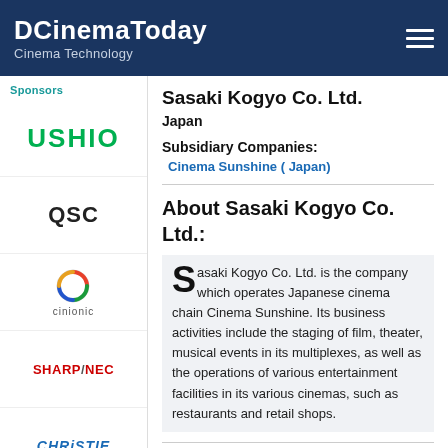DCinemaToday — Cinema Technology
Sponsors
Sasaki Kogyo Co. Ltd.
Japan
Subsidiary Companies:
Cinema Sunshine ( Japan)
About Sasaki Kogyo Co. Ltd.:
Sasaki Kogyo Co. Ltd. is the company which operates Japanese cinema chain Cinema Sunshine. Its business activities include the staging of film, theater, musical events in its multiplexes, as well as the operations of various entertainment facilities in its various cinemas, such as restaurants and retail shops.
Sasaki Kogyo Co. Ltd. News:
Jul 23, 2019
Grand Cinema Sunshine Installs CDS...